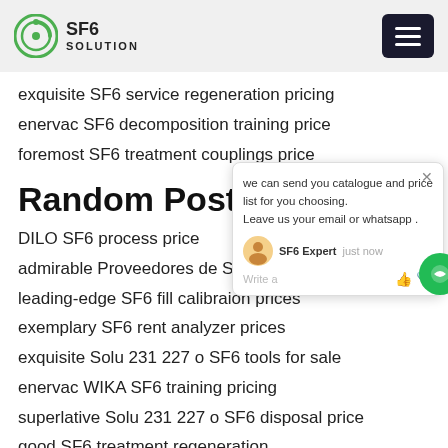SF6 SOLUTION
exquisite SF6 service regeneration pricing
enervac SF6 decomposition training price
foremost SF6 treatment couplings price
Random Posts:
DILO SF6 process price
admirable Proveedores de SF6 separati
leading-edge SF6 fill calibraion prices
exemplary SF6 rent analyzer prices
exquisite Solu 231 227 o SF6 tools for sale
enervac WIKA SF6 training pricing
superlative Solu 231 227 o SF6 disposal price
good SF6 treatment regeneration